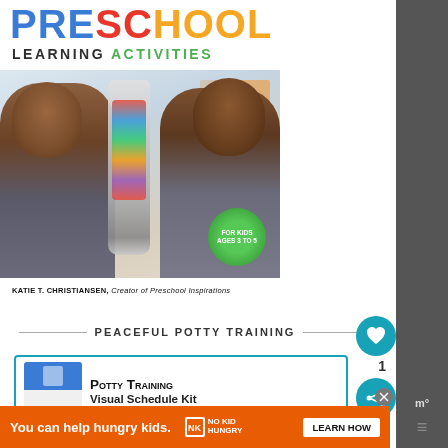[Figure (illustration): Book cover for 'Preschool Learning Activities' by Katie T. Christiansen, Creator of Preschool Inspirations. Shows two young children playing with a colorful sensory bottle/blender toy. Badge reads 'For Kids Ages 3 to 5'.]
PEACEFUL POTTY TRAINING
[Figure (illustration): Book cover thumbnail for 'Potty Training Visual Schedule Kit' - Preschool]
You can help hungry kids.
NO KID HUNGRY
LEARN HOW